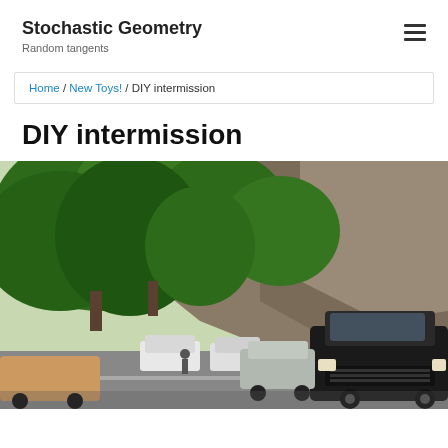Stochastic Geometry
Random tangents
Home / New Toys! / DIY intermission
DIY intermission
[Figure (photo): Outdoor photo showing cars parked or driving on a road in front of large green trees and a rocky hillside/cliff in the background. A black SUV is prominently visible in the foreground on the right side.]